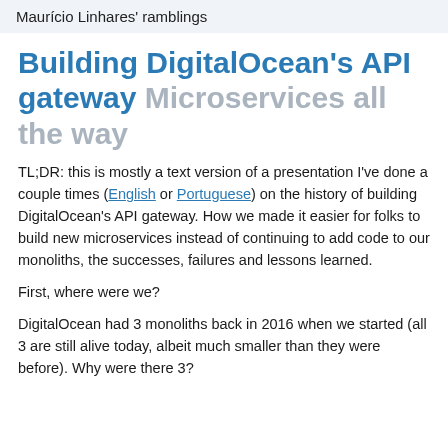Maurício Linhares' ramblings
Building DigitalOcean's API gateway Microservices all the way
TL;DR: this is mostly a text version of a presentation I've done a couple times (English or Portuguese) on the history of building DigitalOcean's API gateway. How we made it easier for folks to build new microservices instead of continuing to add code to our monoliths, the successes, failures and lessons learned.
First, where were we?
DigitalOcean had 3 monoliths back in 2016 when we started (all 3 are still alive today, albeit much smaller than they were before). Why were there 3?